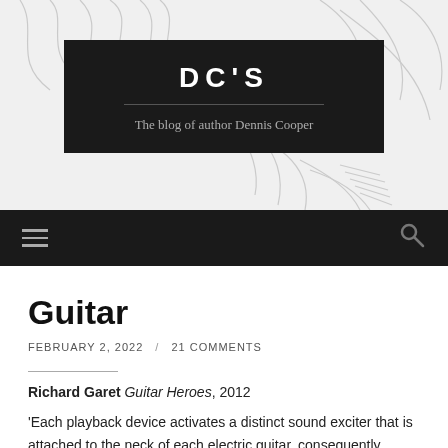[Figure (illustration): Line drawing / sketch illustration of a person's face and hair in profile, serving as the blog header background image]
DC'S
The blog of author Dennis Cooper
Navigation bar with hamburger menu and search icon
Guitar
FEBRUARY 2, 2022 / 21 COMMENTS
Richard Garet Guitar Heroes, 2012
'Each playback device activates a distinct sound exciter that is attached to the neck of each electric guitar, consequently vibrating